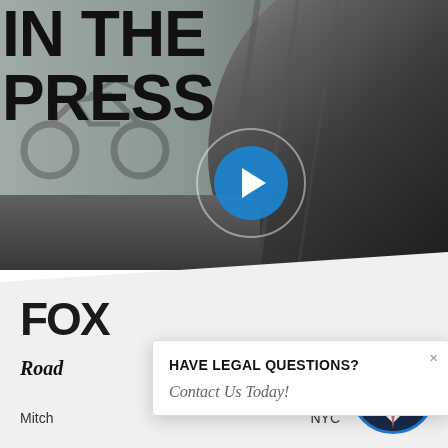[Figure (photo): Hero image of motorcycle tire close-up on road, sepia/grayscale tones, with a blue play button overlay for video. Text 'IN THE PRESS' overlaid in large bold black font on the left side.]
IN THE PRESS
[Figure (logo): FOX news logo in bold black text]
Road
[Figure (photo): Circular portrait photo of male attorney in suit and tie, with blue border]
HAVE LEGAL QUESTIONS?
Contact Us Today!
Mitch
NYC